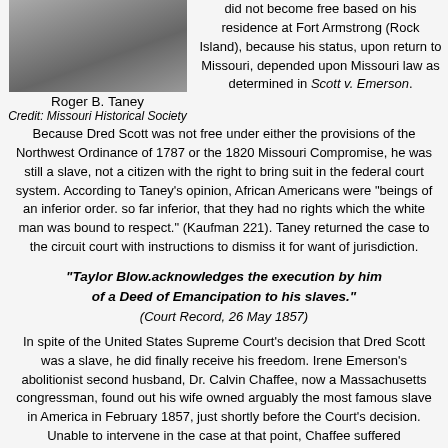[Figure (photo): Black and white portrait photograph of Roger B. Taney]
Roger B. Taney
Credit: Missouri Historical Society
did not become free based on his residence at Fort Armstrong (Rock Island), because his status, upon return to Missouri, depended upon Missouri law as determined in Scott v. Emerson. Because Dred Scott was not free under either the provisions of the Northwest Ordinance of 1787 or the 1820 Missouri Compromise, he was still a slave, not a citizen with the right to bring suit in the federal court system. According to Taney's opinion, African Americans were "beings of an inferior order. so far inferior, that they had no rights which the white man was bound to respect." (Kaufman 221). Taney returned the case to the circuit court with instructions to dismiss it for want of jurisdiction.
"Taylor Blow.acknowledges the execution by him of a Deed of Emancipation to his slaves." (Court Record, 26 May 1857)
In spite of the United States Supreme Court's decision that Dred Scott was a slave, he did finally receive his freedom. Irene Emerson's abolitionist second husband, Dr. Calvin Chaffee, now a Massachusetts congressman, found out his wife owned arguably the most famous slave in America in February 1857, just shortly before the Court's decision. Unable to intervene in the case at that point, Chaffee suffered "disparaging commentary" in newspapers